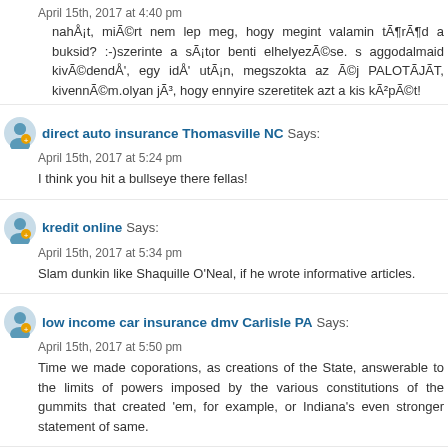April 15th, 2017 at 4:40 pm
nahÅ¡t, miÃ©rt nem lep meg, hogy megint valamin tÃ¶rÃ¶d a buksid? :-)szerinte a sÃ¡tor benti elhelyezÃ©se. s aggodalmaid kivÃ©dendÅ', egy idÅ' utÃ¡n, megszokta az Ã©j PALOTÃJÃT, kivennÃ©m.olyan jÃ³, hogy ennyire szeretitek azt a kis kÃ²pÃ©t!
direct auto insurance Thomasville NC Says:
April 15th, 2017 at 5:24 pm
I think you hit a bullseye there fellas!
kredit online Says:
April 15th, 2017 at 5:34 pm
Slam dunkin like Shaquille O'Neal, if he wrote informative articles.
low income car insurance dmv Carlisle PA Says:
April 15th, 2017 at 5:50 pm
Time we made coporations, as creations of the State, answerable to the lim powers imposed by the various constitutions of the gummits that created 'e example, or Indiana's even stronger statement of same.
super cialis review Says:
April 15th, 2017 at 6:04 pm
Elena, draga mea, ma bucur tare mult ca iti plac retetele mele Sper mult sa ti...